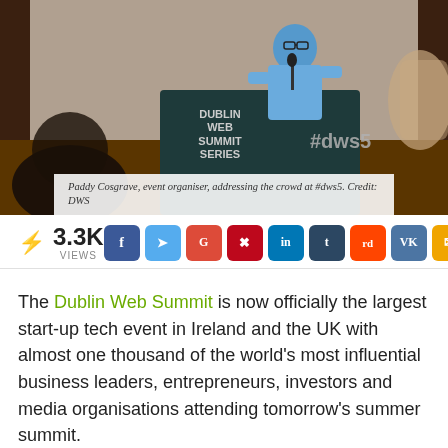[Figure (photo): Person in blue checkered shirt speaking at a podium labeled 'Dublin Web Summit Series #dws5', with audience members visible in foreground.]
Paddy Cosgrave, event organiser, addressing the crowd at #dws5. Credit: DWS
3.3K VIEWS
The Dublin Web Summit is now officially the largest start-up tech event in Ireland and the UK with almost one thousand of the world's most influential business leaders, entrepreneurs, investors and media organisations attending tomorrow's summer summit.
[Figure (photo): Partial view of Web Summit Series event branding with #d visible.]